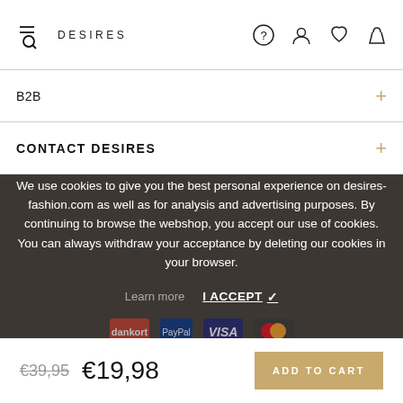DESIRES
B2B
CONTACT DESIRES
We use cookies to give you the best personal experience on desires-fashion.com as well as for analysis and advertising purposes. By continuing to browse the webshop, you accept our use of cookies. You can always withdraw your acceptance by deleting our cookies in your browser.
Learn more  I ACCEPT ✓
€39,95  €19,98  ADD TO CART